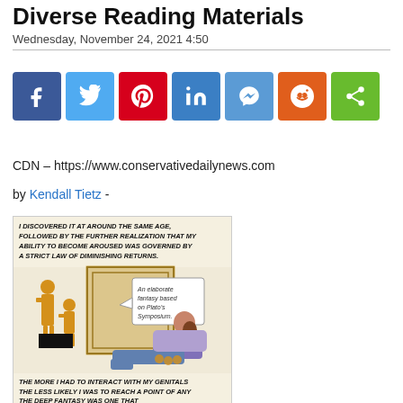Diverse Reading Materials
Wednesday, November 24, 2021 4:50
[Figure (infographic): Row of social media share buttons: Facebook, Twitter, Pinterest, LinkedIn, Messenger, Reddit, Share]
CDN – https://www.conservativedailynews.com
by Kendall Tietz -
[Figure (illustration): Comic strip panel showing an illustrated woman reclining and reading, with ancient Greek-style figures in the background. Text reads: 'I DISCOVERED IT AT AROUND THE SAME AGE, FOLLOWED BY THE FURTHER REALIZATION THAT MY ABILITY TO BECOME AROUSED WAS GOVERNED BY A STRICT LAW OF DIMINISHING RETURNS.' and 'An elaborate fantasy based on Plato's Symposium.' and 'THE MORE I HAD TO INTERACT WITH MY GENITALS THE LESS LIKELY I WAS TO REACH A POINT OF ANY DEEP FANTASY WAS ONE THAT']